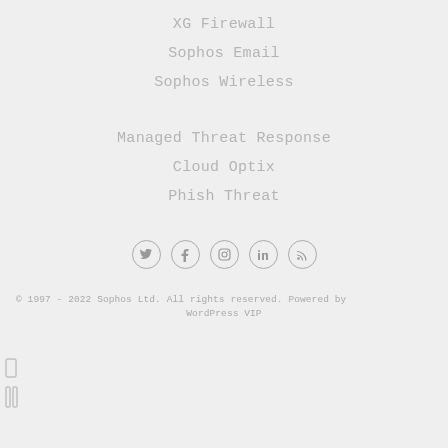XG Firewall
Sophos Email
Sophos Wireless
Managed Threat Response
Cloud Optix
Phish Threat
[Figure (other): Social media icons row: Twitter, Facebook, Instagram, LinkedIn, RSS]
© 1997 - 2022 Sophos Ltd. All rights reserved. Powered by WordPress VIP
[Figure (other): Small bracket/panel icons in bottom-left corner]